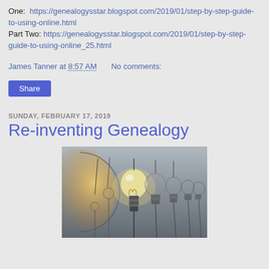One:  https://genealogysstar.blogspot.com/2019/01/step-by-step-guide-to-using-online.html
Part Two: https://genealogysstar.blogspot.com/2019/01/step-by-step-guide-to-using-online_25.html
James Tanner at 8:57 AM   No comments:
Share
SUNDAY, FEBRUARY 17, 2019
Re-inventing Genealogy
[Figure (photo): A row of light bulbs, one glowing brightly with warm yellow light, others unlit, on a grey gradient background. The bulbs diminish in size toward the right.]